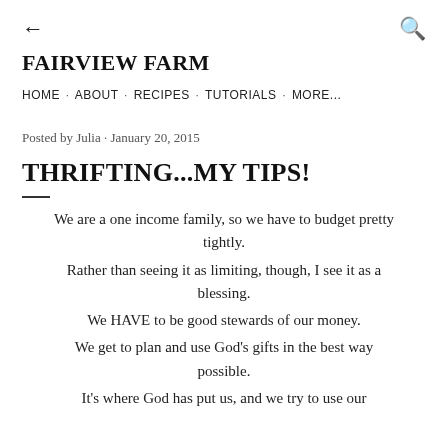← [back]   [search]
FAIRVIEW FARM
HOME · ABOUT · RECIPES · TUTORIALS · MORE...
Posted by Julia · January 20, 2015
THRIFTING...MY TIPS!
We are a one income family, so we have to budget pretty tightly.
Rather than seeing it as limiting, though, I see it as a blessing.
We HAVE to be good stewards of our money.
We get to plan and use God's gifts in the best way possible.
It's where God has put us, and we try to use our